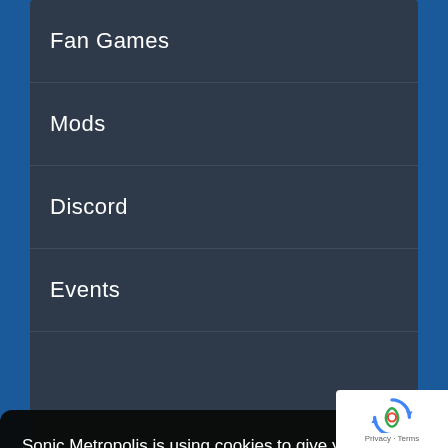Fan Games
Mods
Discord
Events
Sonic Metropolis is using cookies to give you the best experience on our website.
More information
Accept
[Figure (logo): reCAPTCHA logo with Privacy and Terms text]